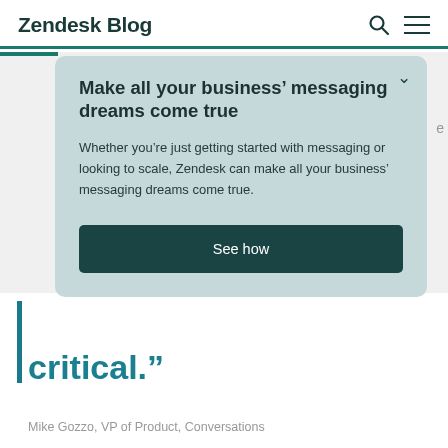Zendesk Blog
Make all your business’ messaging dreams come true
Whether you’re just getting started with messaging or looking to scale, Zendesk can make all your business’ messaging dreams come true.
See how
critical.”
Mike Gozzo, VP of Product, Conversations